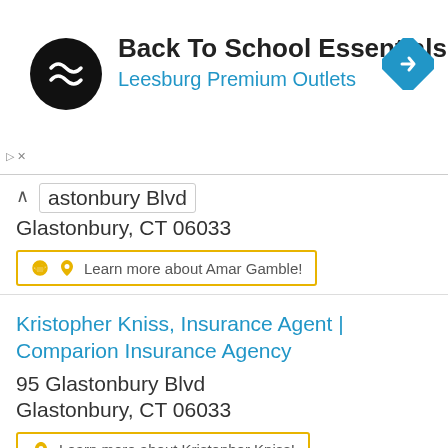[Figure (screenshot): Advertisement banner: Back To School Essentials at Leesburg Premium Outlets with logo and navigation icon]
astonbury Blvd
Glastonbury, CT 06033
Learn more about Amar Gamble!
Kristopher Kniss, Insurance Agent | Comparion Insurance Agency
95 Glastonbury Blvd
Glastonbury, CT 06033
Learn more about Kristopher Kniss!
Alysia Danio, Insurance Agent | Comparion